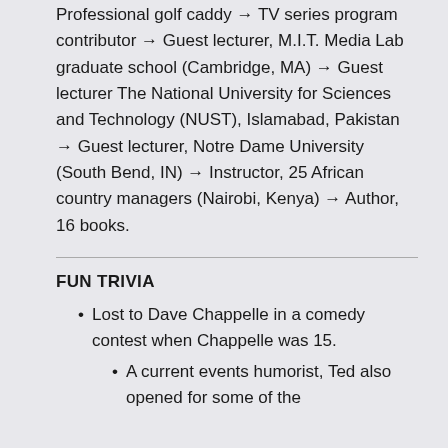Professional golf caddy → TV series program contributor → Guest lecturer, M.I.T. Media Lab graduate school (Cambridge, MA) → Guest lecturer The National University for Sciences and Technology (NUST), Islamabad, Pakistan → Guest lecturer, Notre Dame University (South Bend, IN) → Instructor, 25 African country managers (Nairobi, Kenya) → Author, 16 books.
FUN TRIVIA
Lost to Dave Chappelle in a comedy contest when Chappelle was 15.
A current events humorist, Ted also opened for some of the